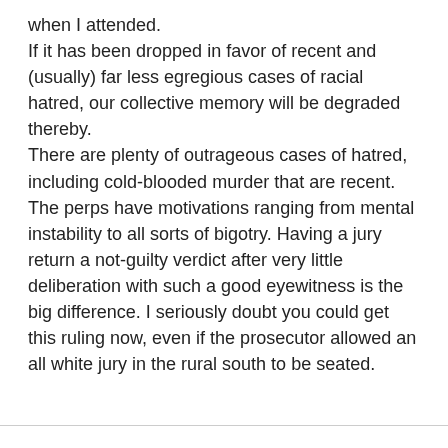when I attended.
If it has been dropped in favor of recent and (usually) far less egregious cases of racial hatred, our collective memory will be degraded thereby.
There are plenty of outrageous cases of hatred, including cold-blooded murder that are recent. The perps have motivations ranging from mental instability to all sorts of bigotry. Having a jury return a not-guilty verdict after very little deliberation with such a good eyewitness is the big difference. I seriously doubt you could get this ruling now, even if the prosecutor allowed an all white jury in the rural south to be seated.